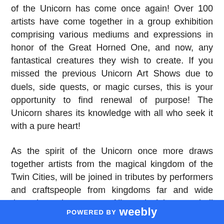of the Unicorn has come once again! Over 100 artists have come together in a group exhibition comprising various mediums and expressions in honor of the Great Horned One, and now, any fantastical creatures they wish to create. If you missed the previous Unicorn Art Shows due to duels, side quests, or magic curses, this is your opportunity to find renewal of purpose! The Unicorn shares its knowledge with all who seek it with a pure heart!
As the spirit of the Unicorn once more draws together artists from the magical kingdom of the Twin Cities, will be joined in tributes by performers and craftspeople from kingdoms far and wide throughout the country. All magical beasts shall preside over
POWERED BY weebly